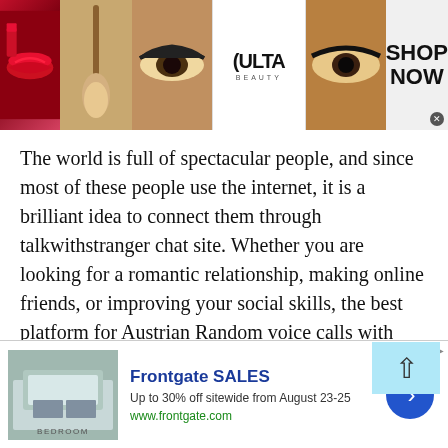[Figure (illustration): Ulta Beauty advertisement banner showing makeup images (red lips, makeup brush, eye with dark makeup, Ulta Beauty logo, eye closeup) with SHOP NOW call to action]
The world is full of spectacular people, and since most of these people use the internet, it is a brilliant idea to connect them through talkwithstranger chat site. Whether you are looking for a romantic relationship, making online friends, or improving your social skills, the best platform for Austrian Random voice calls with strangers is talkwithstranger.
There are more than 800 000 monthly users for Talkwithstranger and the number of users expands with
[Figure (illustration): Frontgate SALES advertisement: bedroom image, Up to 30% off sitewide from August 23-25, www.frontgate.com, blue arrow button]